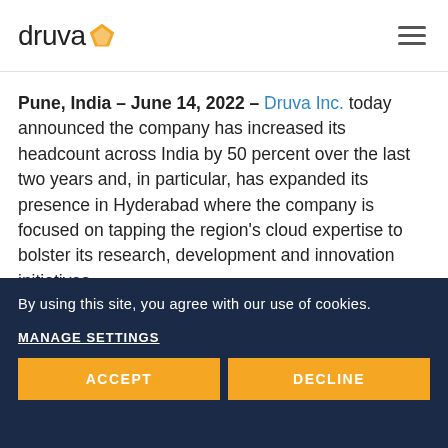druva
Pune, India – June 14, 2022 – Druva Inc. today announced the company has increased its headcount across India by 50 percent over the last two years and, in particular, has expanded its presence in Hyderabad where the company is focused on tapping the region's cloud expertise to bolster its research, development and innovation initiatives.
Historically based in Pune, where the company
By using this site, you agree with our use of cookies.
MANAGE SETTINGS
ACCEPT
DECLINE